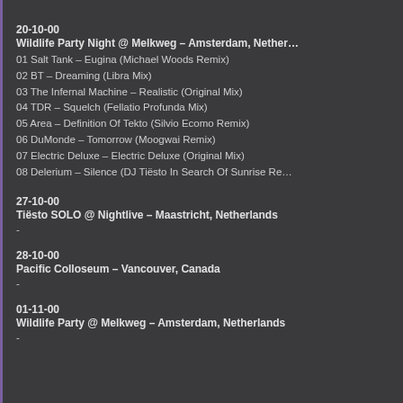20-10-00
Wildlife Party Night @ Melkweg – Amsterdam, Netherlands
01 Salt Tank – Eugina (Michael Woods Remix)
02 BT – Dreaming (Libra Mix)
03 The Infernal Machine – Realistic (Original Mix)
04 TDR – Squelch (Fellatio Profunda Mix)
05 Area – Definition Of Tekto (Silvio Ecomo Remix)
06 DuMonde – Tomorrow (Moogwai Remix)
07 Electric Deluxe – Electric Deluxe (Original Mix)
08 Delerium – Silence (DJ Tiësto In Search Of Sunrise Re…
27-10-00
Tiësto SOLO @ Nightlive – Maastricht, Netherlands
-
28-10-00
Pacific Colloseum – Vancouver, Canada
-
01-11-00
Wildlife Party @ Melkweg – Amsterdam, Netherlands
-